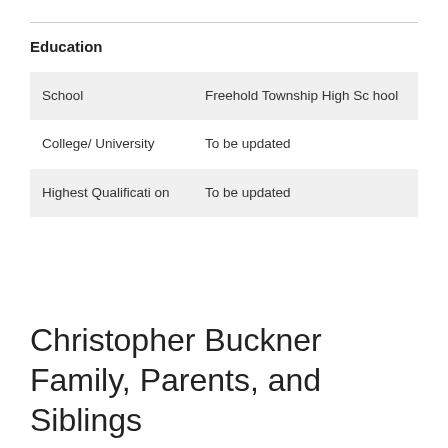Education
| School | Freehold Township High School |
| College/ University | To be updated |
| Highest Qualification | To be updated |
Christopher Buckner Family, Parents, and Siblings